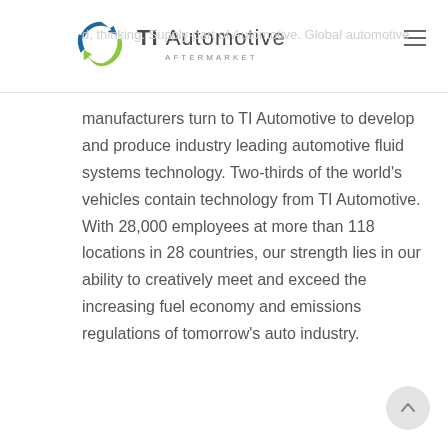ABOUT TI AUTOMOTIVE
[Figure (logo): TI Automotive Aftermarket logo with circular arrow graphic in blue and green]
manufacturers turn to TI Automotive to develop and produce industry leading automotive fluid systems technology. Two-thirds of the world’s vehicles contain technology from TI Automotive. With 28,000 employees at more than 118 locations in 28 countries, our strength lies in our ability to creatively meet and exceed the increasing fuel economy and emissions regulations of tomorrow’s auto industry.